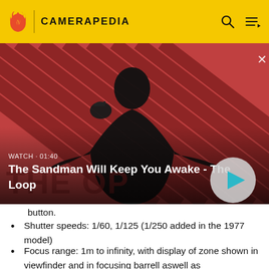CAMERAPEDIA
[Figure (screenshot): Video thumbnail showing a dark-clothed figure with a crow on shoulder against a red diagonal striped background. Title overlay reads 'The Sandman Will Keep You Awake - The Loop'. Watch duration shown as 01:40. Play button visible.]
button.
Shutter speeds: 1/60, 1/125 (1/250 added in the 1977 model)
Focus range: 1m to infinity, with display of zone shown in viewfinder and in focusing barrell aswell as